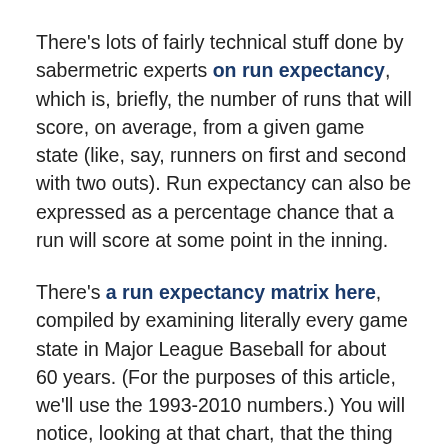There's lots of fairly technical stuff done by sabermetric experts on run expectancy, which is, briefly, the number of runs that will score, on average, from a given game state (like, say, runners on first and second with two outs). Run expectancy can also be expressed as a percentage chance that a run will score at some point in the inning.
There's a run expectancy matrix here, compiled by examining literally every game state in Major League Baseball for about 60 years. (For the purposes of this article, we'll use the 1993-2010 numbers.) You will notice, looking at that chart, that the thing that generally hurts the chances of scoring a run the most is making an out.